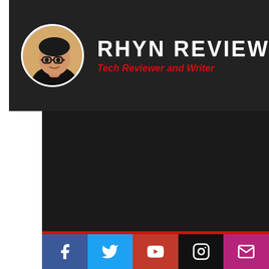[Figure (illustration): Circular avatar photo of a young Asian man wearing glasses and a black shirt, used as profile image for Rhyn Reviews brand]
RHYN REVIEWS
Tech Reviewer and Writer
[Figure (illustration): White circular hamburger menu button with three red horizontal lines]
[Figure (illustration): Social media icon bar with Facebook (blue), Twitter (light blue), YouTube (red), Instagram (black), and Email (pink/magenta) buttons]
Facebook | Twitter | YouTube | Instagram | Email